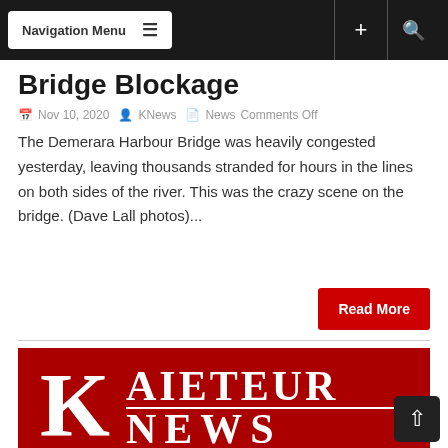Navigation Menu
Bridge Blockage
Nov 10, 2020   KNews   News Comments Off
The Demerara Harbour Bridge was heavily congested yesterday, leaving thousands stranded for hours in the lines on both sides of the river. This was the crazy scene on the bridge. (Dave Lall photos)...
Read More
[Figure (logo): Kaieteur News logo — white serif text 'K AIETEUR NEWS' on dark red background]